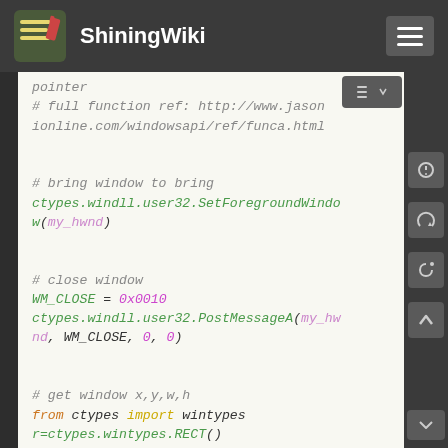ShiningWiki
[Figure (screenshot): Code snippet showing Python ctypes window manipulation functions including SetForegroundWindow, PostMessageA with WM_CLOSE, and GetWindowRect with print output]
pointer
# full function ref: http://www.jasonline.com/windowsapi/ref/funca.html

# bring window to bring
ctypes.windll.user32.SetForegroundWindow(my_hwnd)

# close window
WM_CLOSE = 0x0010
ctypes.windll.user32.PostMessageA(my_hwnd, WM_CLOSE, 0, 0)

# get window x,y,w,h
from ctypes import wintypes
r=ctypes.wintypes.RECT()
ctypes.windll.user32.GetWindowRect(my_hwnd,ctypes.byref(r))
print( [r.left,r.top,r.right-r.left,r.bottom-r.top] )